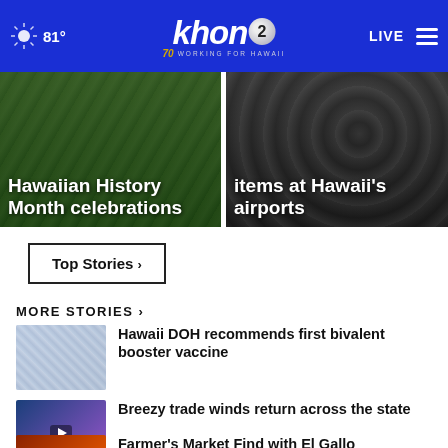81° | KHON2 Working for Hawaii | LIVE
[Figure (screenshot): Hero image left: Hawaiian History Month celebrations on green background]
[Figure (screenshot): Hero image right: items at Hawaii's airports on dark background]
Top Stories ›
MORE STORIES ›
[Figure (photo): Thumbnail showing pills/vaccine items]
Hawaii DOH recommends first bivalent booster vaccine
[Figure (screenshot): Video thumbnail showing weather map of Hawaii with trade winds]
Breezy trade winds return across the state
[Figure (photo): Video thumbnail showing Farmer's Market with fire/orange background]
Farmer's Market Find with El Gallo